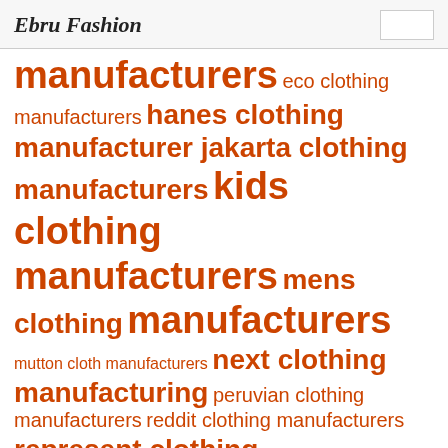Ebru Fashion
manufacturers eco clothing manufacturers hanes clothing manufacturer jakarta clothing manufacturers kids clothing manufacturers mens clothing manufacturers mutton cloth manufacturers next clothing manufacturing peruvian clothing manufacturers reddit clothing manufacturers represent clothing manufacturer roadster clothing manufacturers rubber clothing manufacturers